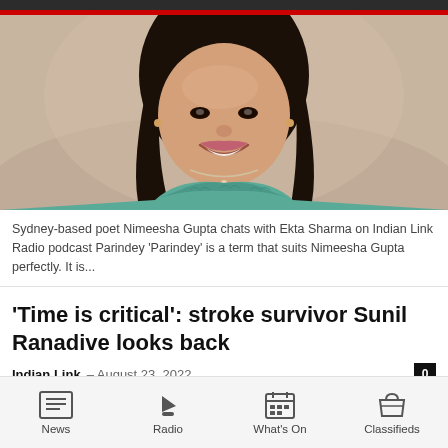[Figure (photo): Portrait photo of Sydney-based poet Nimeesha Gupta, a woman with long dark hair, smiling, wearing a teal patterned top and a necklace]
Sydney-based poet Nimeesha Gupta chats with Ekta Sharma on Indian Link Radio podcast Parindey 'Parindey' is a term that suits Nimeesha Gupta perfectly. It is...
'Time is critical': stroke survivor Sunil Ranadive looks back
Indian Link – August 23, 2022
News | Radio | What's On | Classifieds